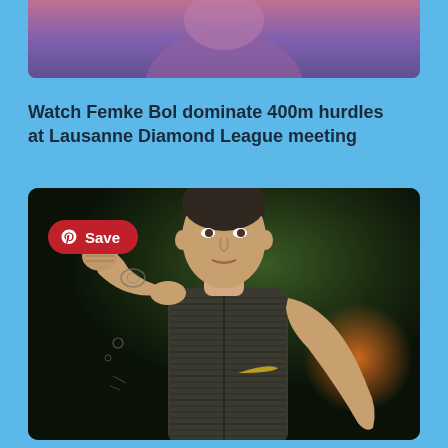[Figure (photo): Partial photo of athlete (Femke Bol) in athletic wear, cropped at top of page]
Watch Femke Bol dominate 400m hurdles at Lausanne Diamond League meeting
[Figure (photo): Photo of male athlete (Jakob Ingebrigtsen) in Nike singlet with fist raised in celebration, tattoos visible on arms, dark stadium background with orange blur. Pinterest Save button overlay in top-left corner.]